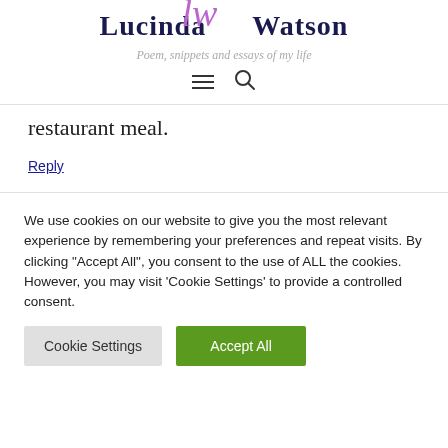Lucinda Watson — Poem, snippets and essays of my life
restaurant meal.
Reply
We use cookies on our website to give you the most relevant experience by remembering your preferences and repeat visits. By clicking "Accept All", you consent to the use of ALL the cookies. However, you may visit 'Cookie Settings' to provide a controlled consent.
Cookie Settings | Accept All